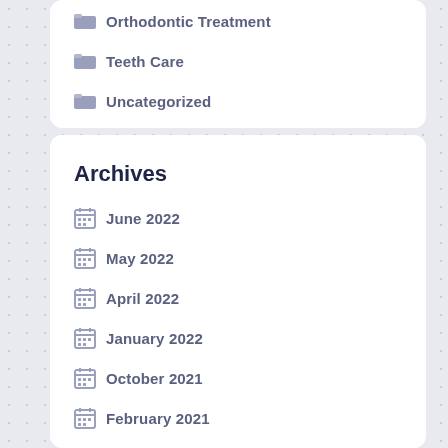Orthodontic Treatment
Teeth Care
Uncategorized
Archives
June 2022
May 2022
April 2022
January 2022
October 2021
February 2021